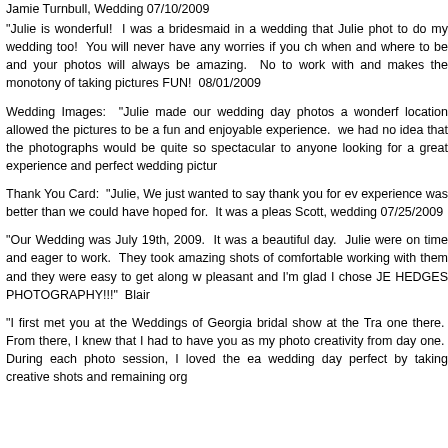Jamie Turnbull, Wedding 07/10/2009
"Julie is wonderful! I was a bridesmaid in a wedding that Julie phot to do my wedding too! You will never have any worries if you ch when and where to be and your photos will always be amazing. No to work with and makes the monotony of taking pictures FUN! 08/01/2009
Wedding Images: "Julie made our wedding day photos a wonderf location allowed the pictures to be a fun and enjoyable experience. we had no idea that the photographs would be quite so spectacular to anyone looking for a great experience and perfect wedding pictur
Thank You Card: "Julie, We just wanted to say thank you for ev experience was better than we could have hoped for. It was a pleas Scott, wedding 07/25/2009
"Our Wedding was July 19th, 2009. It was a beautiful day. Julie were on time and eager to work. They took amazing shots of comfortable working with them and they were easy to get along w pleasant and I'm glad I chose JE HEDGES PHOTOGRAPHY!!!" Blair
"I first met you at the Weddings of Georgia bridal show at the Tra one there. From there, I knew that I had to have you as my photo creativity from day one. During each photo session, I loved the ea wedding day perfect by taking creative shots and remaining org